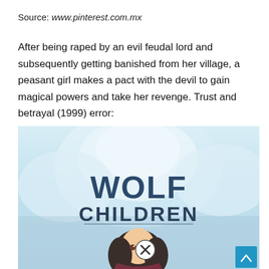Source: www.pinterest.com.mx
After being raped by an evil feudal lord and subsequently getting banished from her village, a peasant girl makes a pact with the devil to gain magical powers and take her revenge. Trust and betrayal (1999) error:
[Figure (illustration): Anime movie poster for 'Wolf Children' showing large bold text 'WOLF CHILDREN' against a light blue/white icy mountain background with an anime girl character at the bottom with dark hair. A circular close button with an X is overlaid on the character's face. A blue scroll-to-top button appears in the bottom right corner.]